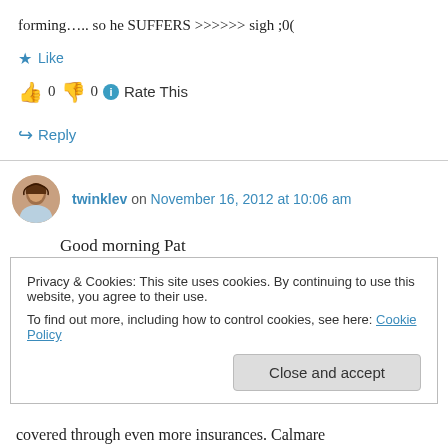forming….. so he SUFFERS >>>>>> sigh ;0(
★ Like
👍 0 👎 0 ℹ Rate This
↪ Reply
twinklev on November 16, 2012 at 10:06 am
Good morning Pat
I have not personally tried Calmare (also known
Privacy & Cookies: This site uses cookies. By continuing to use this website, you agree to their use.
To find out more, including how to control cookies, see here: Cookie Policy
Close and accept
covered through even more insurances. Calmare